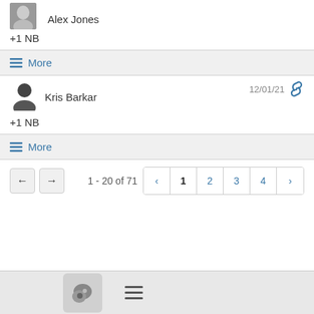Alex Jones
+1 NB
≡ More
Kris Barkar
12/01/21
+1 NB
≡ More
1 - 20 of 71
1 2 3 4